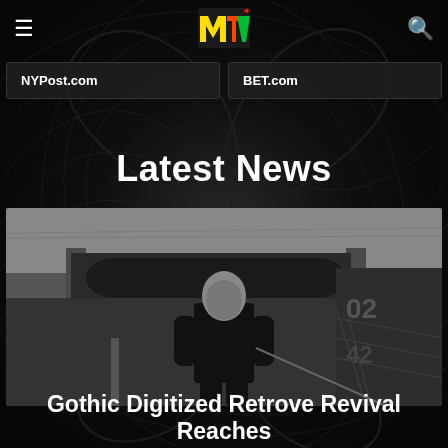MTV
NYPost.com
BET.com
Latest News
[Figure (photo): Black and white photo of a bald man in a black outfit standing in an urban underpass area with graffiti on walls and a chain-link fence]
Gothic Digitized Retrove Revival Reaches